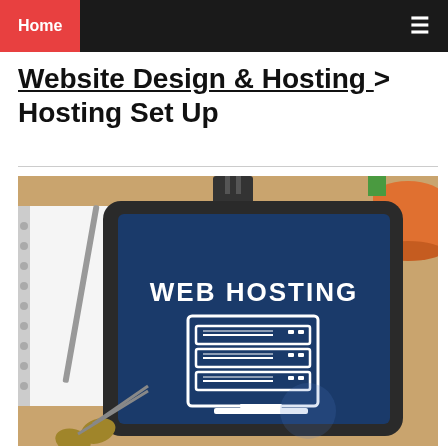Home
Website Design & Hosting > Hosting Set Up
[Figure (photo): A tablet on a wooden desk displaying 'WEB HOSTING' with a server rack icon on a dark blue screen, surrounded by a notebook, pencil, scissors, and an orange cup.]